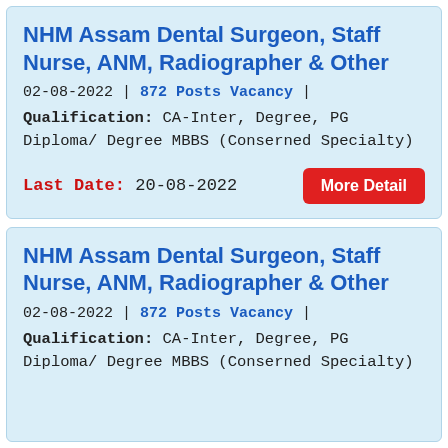NHM Assam Dental Surgeon, Staff Nurse, ANM, Radiographer & Other
02-08-2022 | 872 Posts Vacancy |
Qualification: CA-Inter, Degree, PG Diploma/ Degree MBBS (Conserned Specialty)
Last Date: 20-08-2022
NHM Assam Dental Surgeon, Staff Nurse, ANM, Radiographer & Other
02-08-2022 | 872 Posts Vacancy |
Qualification: CA-Inter, Degree, PG Diploma/ Degree MBBS (Conserned Specialty)